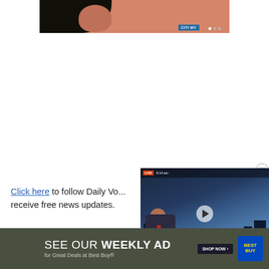[Figure (screenshot): Partial top image showing a woman's hair and face against a salmon/terracotta background, with a CITIMY badge and navigation dots]
Click here to follow Daily Vo... receive free news updates.
Share this story
[Figure (screenshot): Floating video player showing a Bloomberg-style live financial news broadcast with 'LIVE 9:14am' banner, a male anchor in suit and red tie, city skyline background, name box showing 'Rahul Chadha - Mirae Asset Global Investments Pte Ltd', and ticker 'ASIAN STOCKS HOVER NEAR 6-WEEK LOWS']
[Figure (screenshot): Best Buy advertisement banner reading 'SEE OUR WEEKLY AD for Great Deals at Best Buy® SHOP NOW' with Best Buy logo]